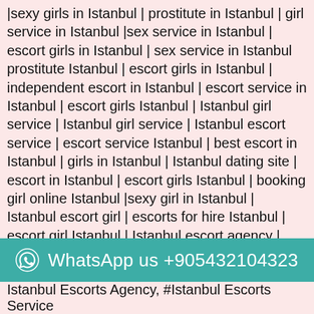|sexy girls in Istanbul | prostitute in Istanbul | girl service in Istanbul |sex service in Istanbul | escort girls in Istanbul | sex service in Istanbul prostitute Istanbul | escort girls in Istanbul | independent escort in Istanbul | escort service in Istanbul | escort girls Istanbul | Istanbul girl service | Istanbul girl service | Istanbul escort service | escort service Istanbul | best escort in Istanbul | girls in Istanbul | Istanbul dating site | escort in Istanbul | escort girls Istanbul | booking girl online Istanbul |sexy girl in Istanbul | Istanbul escort girl | escorts for hire Istanbul | escort girl Istanbul | Istanbul escort agency | Istanbul sexy girl | escorts escort agency in Istanbul | female escort in Istanbul | Istanbul female escort | indian escort Istanbul | Istanbul girls | escort in Istanbul | escort agency in Istanbul | Istanbul girls | girls in Istanbul | escort service Istanbul | escort Istanbul | girl in
WhatsApp us +905432104323
Istanbul Escorts Agency, #Istanbul Escorts Service